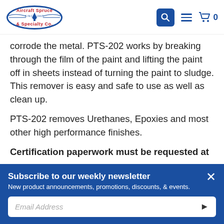Aircraft Spruce & Specialty Co. — navigation header with search, menu, and cart icons
corrode the metal. PTS-202 works by breaking through the film of the paint and lifting the paint off in sheets instead of turning the paint to sludge. This remover is easy and safe to use as well as clean up.
PTS-202 removes Urethanes, Epoxies and most other high performance finishes.
Certification paperwork must be requested at
Subscribe to our weekly newsletter
New product announcements, promotions, discounts, & events.
Email Address